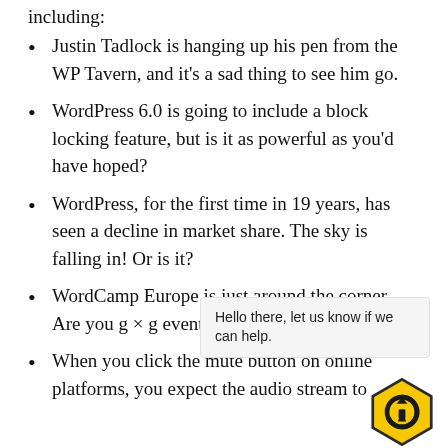including:
Justin Tadlock is hanging up his pen from the WP Tavern, and it’s a sad thing to see him go.
WordPress 6.0 is going to include a block locking feature, but is it as powerful as you’d have hoped?
WordPress, for the first time in 19 years, has seen a decline in market share. The sky is falling in! Or is it?
WordCamp Europe is just around the corner. Are you g × g events at all?
Hello there, let us know if we can help.
When you click the mute button on online platforms, you expect the audio stream to
[Figure (logo): Yellow and black hexagon logo with a wrench/tool icon]